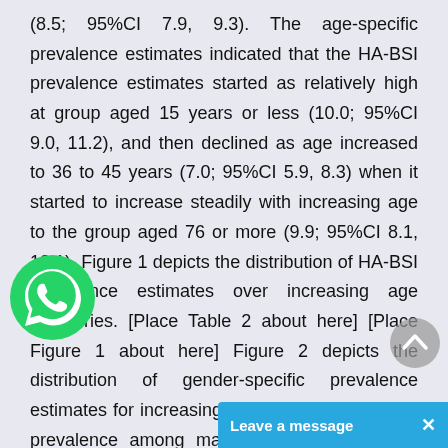(8.5; 95%CI 7.9, 9.3). The age-specific prevalence estimates indicated that the HA-BSI prevalence estimates started as relatively high at group aged 15 years or less (10.0; 95%CI 9.0, 11.2), and then declined as age increased to 36 to 45 years (7.0; 95%CI 5.9, 8.3) when it started to increase steadily with increasing age to the group aged 76 or more (9.9; 95%CI 8.1, 12.1). Figure 1 depicts the distribution of HA-BSI prevalence estimates over increasing age categories. [Place Table 2 about here] [Place Figure 1 about here] Figure 2 depicts the distribution of gender-specific prevalence estimates for increasing age categories. HA-BSI prevalence among males was proportionately higher than that among females over all age categories. HA-BSI prevalence among males started as high among patients aged 15 years or less, it